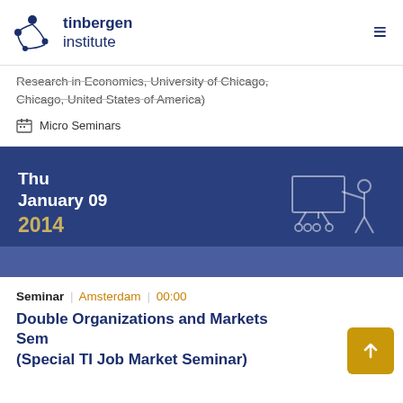tinbergen institute
Research in Economics, University of Chicago, Chicago, United States of America)
Micro Seminars
[Figure (infographic): Blue date banner showing Thu January 09 2014 with a seminar/presenter icon on the right]
Seminar | Amsterdam | 00:00
Double Organizations and Markets Seminar (Special TI Job Market Seminar)